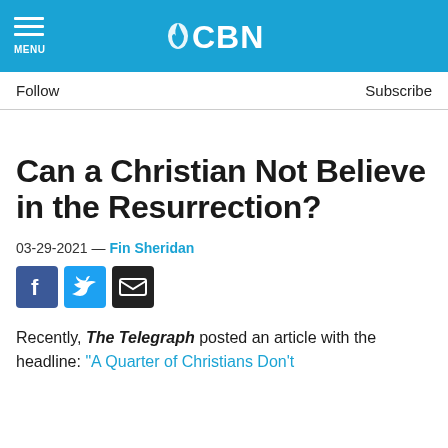CBN
Follow    Subscribe
Can a Christian Not Believe in the Resurrection?
03-29-2021 — Fin Sheridan
[Figure (other): Social sharing icons: Facebook, Twitter, Email]
Recently, The Telegraph posted an article with the headline: "A Quarter of Christians Don't